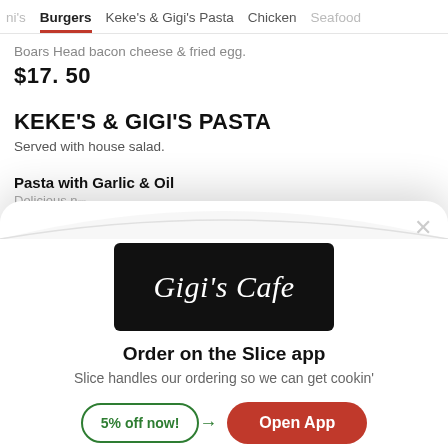ni's  Burgers  Keke's & Gigi's Pasta  Chicken  Seafood
Boars Head bacon cheese & fried egg.
$17.50
KEKE'S & GIGI'S PASTA
Served with house salad.
Pasta with Garlic & Oil
Delicious n...
$...
[Figure (logo): Gigi's Cafe logo — white cursive script on black rectangular background]
Order on the Slice app
Slice handles our ordering so we can get cookin'
5% off now!
Open App